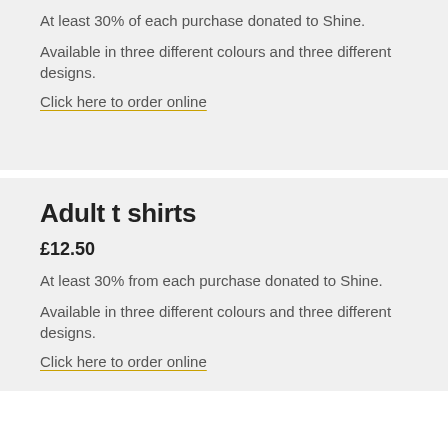At least 30% of each purchase donated to Shine.
Available in three different colours and three different designs.
Click here to order online
Adult t shirts
£12.50
At least 30% from each purchase donated to Shine.
Available in three different colours and three different designs.
Click here to order online